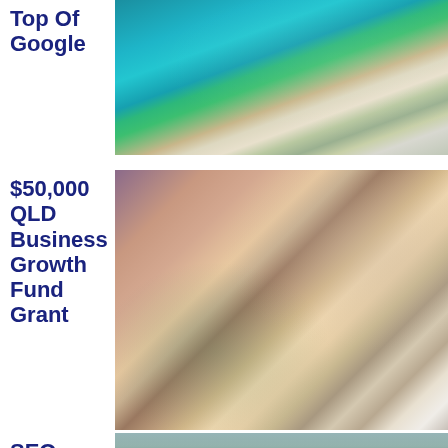Top Of Google
[Figure (photo): Aerial view of a coastal city with beach, ocean in teal/turquoise color, and urban development]
$50,000 QLD Business Growth Fund Grant
[Figure (photo): Woman in cafe/restaurant setting wearing apron, reviewing papers and writing, with flowers in foreground]
SEO Byron Bay: 6
[Figure (photo): Aerial or elevated view of Byron Bay hinterland showing green hills and town below]